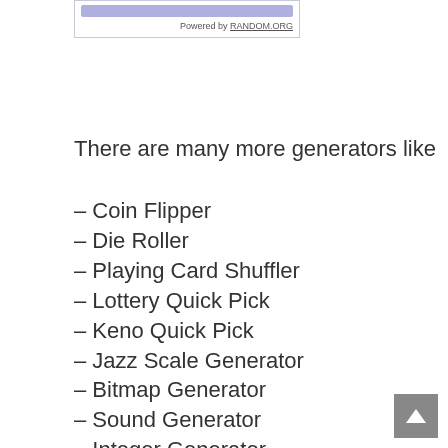[Figure (other): Widget box with a purple/blue top bar and 'Powered by RANDOM.ORG' text]
There are many more generators like
– Coin Flipper
– Die Roller
– Playing Card Shuffler
– Lottery Quick Pick
– Keno Quick Pick
– Jazz Scale Generator
– Bitmap Generator
– Sound Generator
– Integer Generator
– Sequence Generator
– String Generator